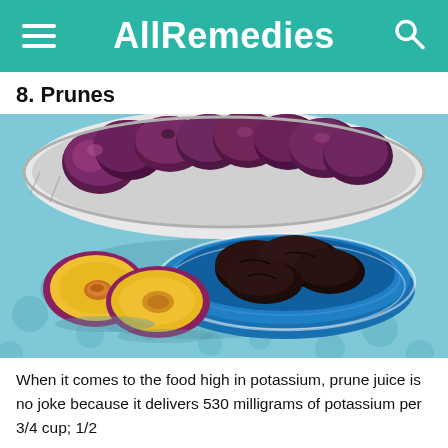AllRemedies
8. Prunes
[Figure (photo): Photo of fresh plums in a white colander in the background, and dried prunes in a blue ridged bowl in the foreground, with two halved plums showing yellow flesh and pit on a blue floral tablecloth.]
When it comes to the food high in potassium, prune juice is no joke because it delivers 530 milligrams of potassium per 3/4 cup; 1/2